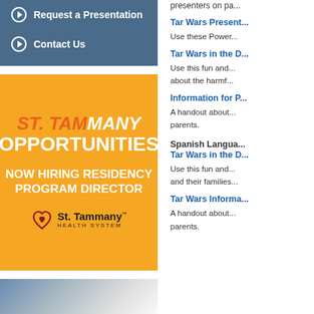Request a Presentation
Contact Us
[Figure (illustration): St. Tammany Health System advertisement on orange background. Text: ST. TAMMANY MANY OPPORTUNITIES - NOW HIRING RESIDENCY PROGRAM DIRECTOR. St. Tammany Health System logo at bottom.]
[Figure (photo): Partial photo at bottom left, appears to show a keyboard or similar object in blue/grey tones.]
presenters on pa...
Tar Wars Present...
Use these Power...
Tar Wars in the D...
Use this fun and... about the harmf...
Information for P...
A handout about... parents.
Spanish Langua... Tar Wars in the D...
Use this fun and... and their families...
Tar Wars Informa...
A handout about... parents.